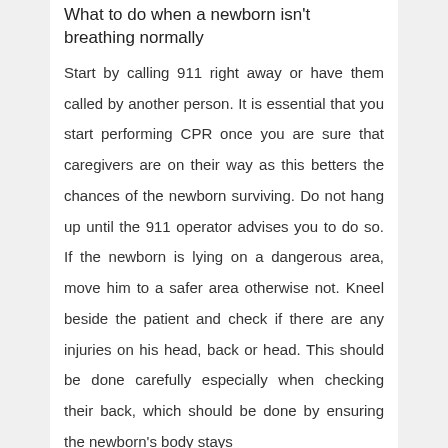What to do when a newborn isn't breathing normally
Start by calling 911 right away or have them called by another person. It is essential that you start performing CPR once you are sure that caregivers are on their way as this betters the chances of the newborn surviving. Do not hang up until the 911 operator advises you to do so. If the newborn is lying on a dangerous area, move him to a safer area otherwise not. Kneel beside the patient and check if there are any injuries on his head, back or head. This should be done carefully especially when checking their back, which should be done by ensuring the newborn's body stays